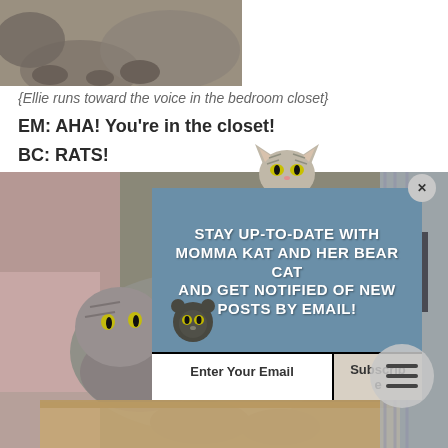[Figure (photo): Partial photo of a grey tabby cat, cropped at top of page]
{Ellie runs toward the voice in the bedroom closet}
EM: AHA! You're in the closet!
BC: RATS!
[Figure (photo): Grey tabby cat lying in a cardboard box surrounded by clothing in a closet, with a subscription popup overlay]
STAY UP-TO-DATE WITH MOMMA KAT AND HER BEAR CAT AND GET NOTIFIED OF NEW POSTS BY EMAIL!
Enter Your Email
Subscribe